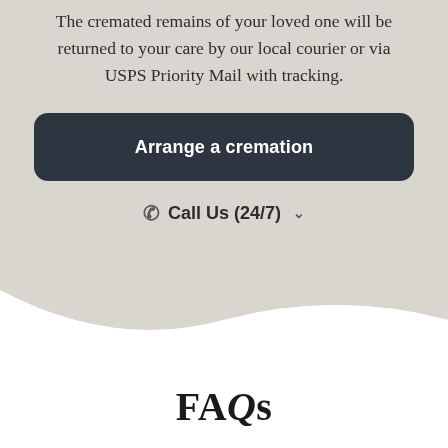The cremated remains of your loved one will be returned to your care by our local courier or via USPS Priority Mail with tracking.
Arrange a cremation
Call Us (24/7)
FAQs